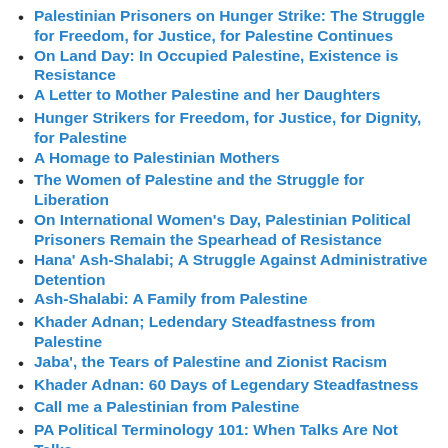Palestinian Prisoners on Hunger Strike: The Struggle for Freedom, for Justice, for Palestine Continues
On Land Day: In Occupied Palestine, Existence is Resistance
A Letter to Mother Palestine and her Daughters
Hunger Strikers for Freedom, for Justice, for Dignity, for Palestine
A Homage to Palestinian Mothers
The Women of Palestine and the Struggle for Liberation
On International Women's Day, Palestinian Political Prisoners Remain the Spearhead of Resistance
Hana' Ash-Shalabi; A Struggle Against Administrative Detention
Ash-Shalabi: A Family from Palestine
Khader Adnan; Ledendary Steadfastness from Palestine
Jaba', the Tears of Palestine and Zionist Racism
Khader Adnan: 60 Days of Legendary Steadfastness
Call me a Palestinian from Palestine
PA Political Terminology 101: When Talks Are Not Talks
One Heart; Beating for Palestine